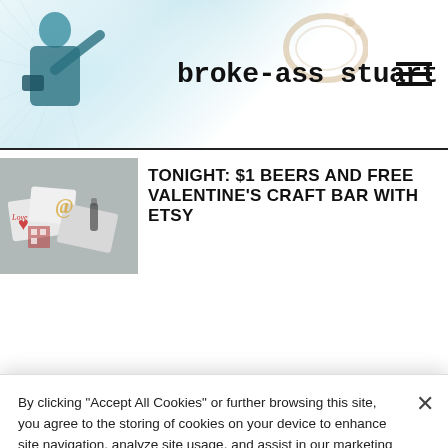broke-ass stuart
TONIGHT: $1 BEERS AND FREE VALENTINE'S CRAFT BAR WITH ETSY
By clicking “Accept All Cookies” or further browsing this site, you agree to the storing of cookies on your device to enhance site navigation, analyze site usage, and assist in our marketing efforts. Cookie Policy
Cookies Settings
Reject All
Accept All Cookies